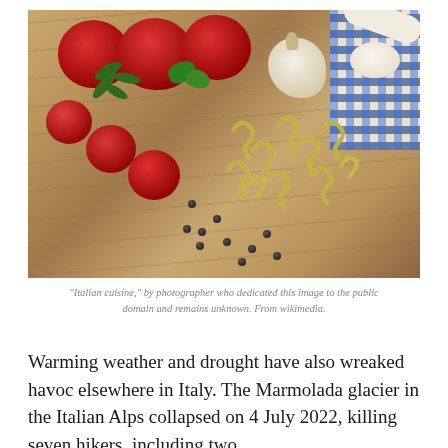[Figure (photo): Photo of Italian cuisine ingredients on a wooden cutting board: large red tomatoes, cherry tomatoes on the vine, basil leaves, a head of garlic, raw cavatappi/cellentani pasta, scattered black peppercorns, and a wooden spoon with peppercorns, with a blue and white checkered cloth in the background.]
“Italian cuisine,” by photographer who dedicated this image to the public domain and remains unknown. From wikimedia.
Warming weather and drought have also wreaked havoc elsewhere in Italy. The Marmolada glacier in the Italian Alps collapsed on 4 July 2022, killing seven hikers, including two